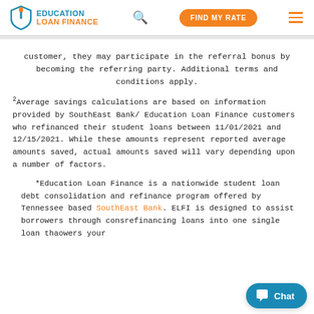EDUCATION LOAN FINANCE | [search] | FIND MY RATE | [menu]
customer, they may participate in the referral bonus by becoming the referring party. Additional terms and conditions apply.
2 Average savings calculations are based on information provided by SouthEast Bank/ Education Loan Finance customers who refinanced their student loans between 11/01/2021 and 12/15/2021. While these amounts represent reported average amounts saved, actual amounts saved will vary depending upon a number of factors.
*Education Loan Finance is a nationwide student loan debt consolidation and refinance program offered by Tennessee based SouthEast Bank. ELFI is designed to assist borrowers through consolidating and refinancing loans into one single loan that lowers your